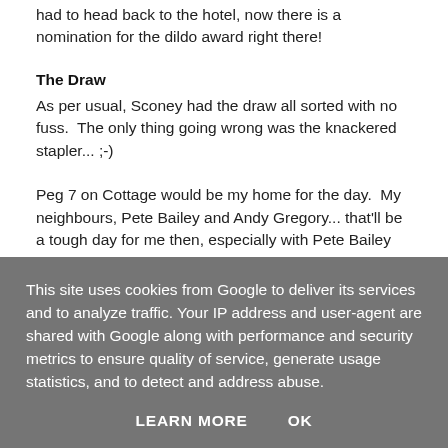had to head back to the hotel, now there is a nomination for the dildo award right there!
The Draw
As per usual, Sconey had the draw all sorted with no fuss.  The only thing going wrong was the knackered stapler... ;-)
Peg 7 on Cottage would be my home for the day.  My neighbours, Pete Bailey and Andy Gregory... that'll be a tough day for me then, especially with Pete Bailey on the favoured peg 9.
Set U
This site uses cookies from Google to deliver its services and to analyze traffic. Your IP address and user-agent are shared with Google along with performance and security metrics to ensure quality of service, generate usage statistics, and to detect and address abuse.
LEARN MORE   OK